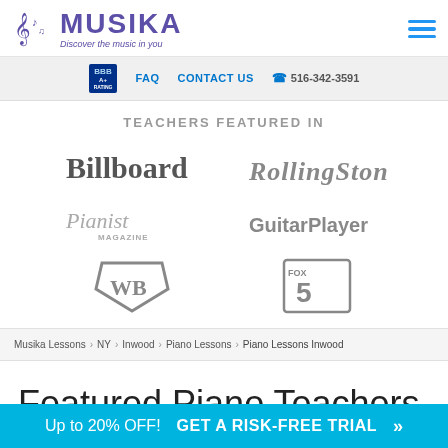[Figure (logo): Musika logo with musical note icon and tagline 'Discover the music in you']
FAQ  CONTACT US  516-342-3591
TEACHERS FEATURED IN
[Figure (logo): Billboard magazine logo (grayscale)]
[Figure (logo): Rolling Stone magazine logo (grayscale)]
[Figure (logo): Pianist Magazine logo (grayscale)]
[Figure (logo): Guitar Player magazine logo (grayscale)]
[Figure (logo): Warner Bros shield logo (grayscale)]
[Figure (logo): Fox 5 News logo (grayscale)]
Musika Lessons > NY > Inwood > Piano Lessons > Piano Lessons Inwood
Featured Piano Teachers Near Inwood, NY
Up to 20% OFF!  GET A RISK-FREE TRIAL »